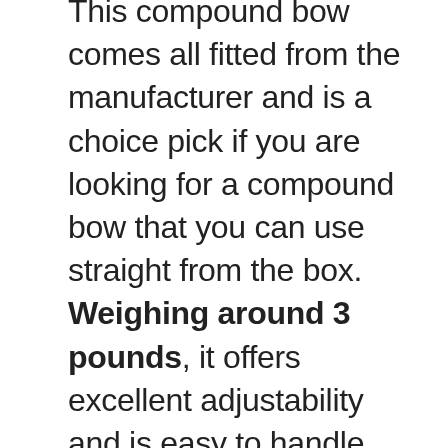This compound bow comes all fitted from the manufacturer and is a choice pick if you are looking for a compound bow that you can use straight from the box. Weighing around 3 pounds, it offers excellent adjustability and is easy to handle without causing much strain to the muscles in the hands. This bow fires arrows at a speed of 315 fps, which is quite good even for hunting for shooting.